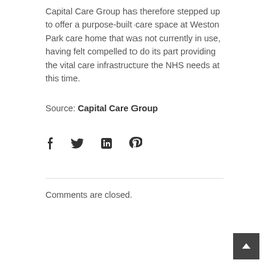Capital Care Group has therefore stepped up to offer a purpose-built care space at Weston Park care home that was not currently in use, having felt compelled to do its part providing the vital care infrastructure the NHS needs at this time.
Source: Capital Care Group
[Figure (other): Social media sharing icons: Facebook, Twitter, LinkedIn, Pinterest]
Comments are closed.